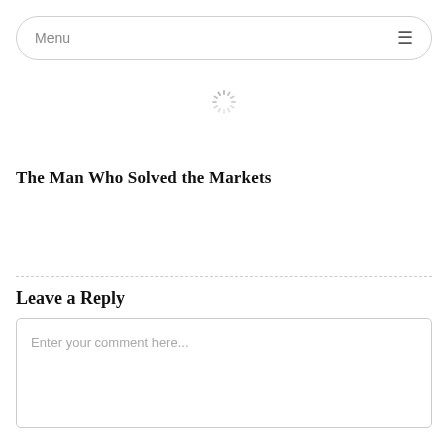Menu
[Figure (other): Loading spinner icon (circular dashed spinner graphic)]
The Man Who Solved the Markets
Leave a Reply
Enter your comment here...